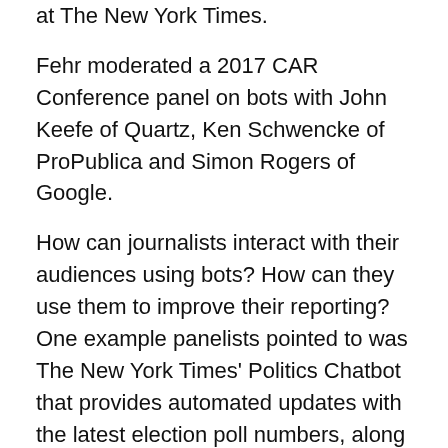at The New York Times.
Fehr moderated a 2017 CAR Conference panel on bots with John Keefe of Quartz, Ken Schwencke of ProPublica and Simon Rogers of Google.
How can journalists interact with their audiences using bots? How can they use them to improve their reporting? One example panelists pointed to was The New York Times' Politics Chatbot that provides automated updates with the latest election poll numbers, along with news updates via Facebook Messenger.
Quartz recently launched a Bot Studio, with